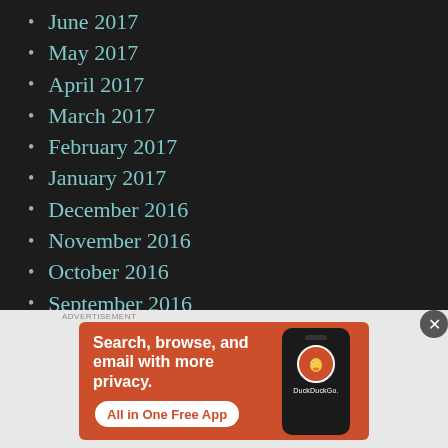June 2017
May 2017
April 2017
March 2017
February 2017
January 2017
December 2016
November 2016
October 2016
September 2016
August 2016
[Figure (screenshot): DuckDuckGo advertisement banner on orange background with phone mockup. Text: 'Search, browse, and email with more privacy. All in One Free App. DuckDuckGo.']